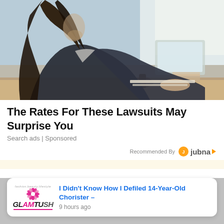[Figure (photo): Woman in a dark blazer sitting at a desk working on a laptop with a gavel visible, bright windows in background — law/legal professional stock photo]
The Rates For These Lawsuits May Surprise You
Search ads | Sponsored
Recommended By Jubna
[Figure (screenshot): Gray notification overlay area with X close button, a white notification card showing Glamtush logo and headline 'I Didn't Know How I Defiled 14-Year-Old Chorister –' posted 9 hours ago, and a blue bell notification button with red badge showing 3]